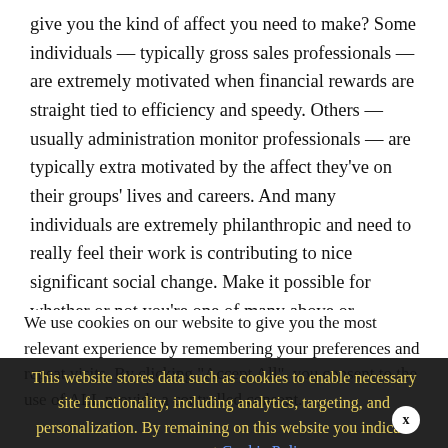give you the kind of affect you need to make? Some individuals — typically gross sales professionals — are extremely motivated when financial rewards are straight tied to efficiency and speedy. Others — usually administration monitor professionals — are typically extra motivated by the affect they've on their groups' lives and careers. And many individuals are extremely philanthropic and need to really feel their work is contributing to nice significant social change. Make it possible for whether or not you're one of many above or
We use cookies on our website to give you the most relevant experience by remembering your preferences and repeat visits. By clicking "Accept All", you consent to the use of ALL provide a controlled consent.
This website stores data such as cookies to enable necessary site functionality, including analytics, targeting, and personalization. By remaining on this website you indicate your consent Cookie Policy